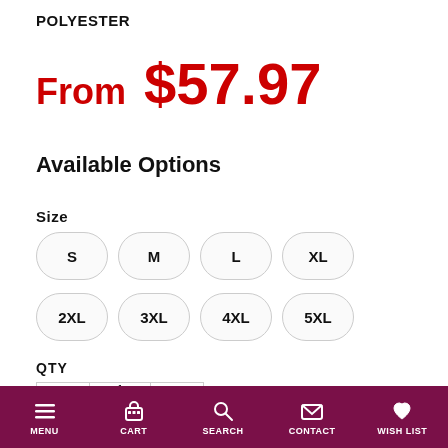POLYESTER
From $57.97
Available Options
Size
S
M
L
XL
2XL
3XL
4XL
5XL
QTY
1
SELECT SIZE
MENU  CART  SEARCH  CONTACT  WISH LIST